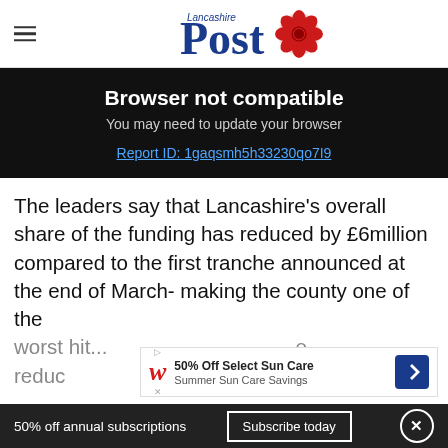Lancashire Post
Browser not compatible
You may need to update your browser
Report ID: 1gaqsmh5h33230qo7I9
The leaders say that Lancashire's overall share of the funding has reduced by £6million compared to the first tranche announced at the end of March- making the county one of the worst hit... reduces...
[Figure (other): Advertisement banner: Walgreens 50% Off Select Sun Care / Summer Sun Care Savings]
50% off annual subscriptions   Subscribe today   ×